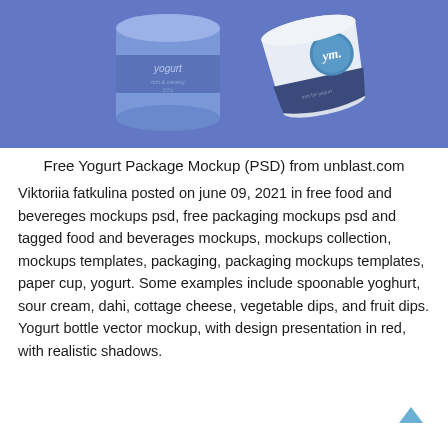[Figure (photo): Two yogurt cups floating against a blue/periwinkle background — one tall cylindrical jar labeled 'yogurt' and one shorter wide cup with a 'ym.' logo and 'mm for yogurt' text]
Free Yogurt Package Mockup (PSD) from unblast.com
Viktoriia fatkulina posted on june 09, 2021 in free food and bevereges mockups psd, free packaging mockups psd and tagged food and beverages mockups, mockups collection, mockups templates, packaging, packaging mockups templates, paper cup, yogurt. Some examples include spoonable yoghurt, sour cream, dahi, cottage cheese, vegetable dips, and fruit dips. Yogurt bottle vector mockup, with design presentation in red, with realistic shadows.